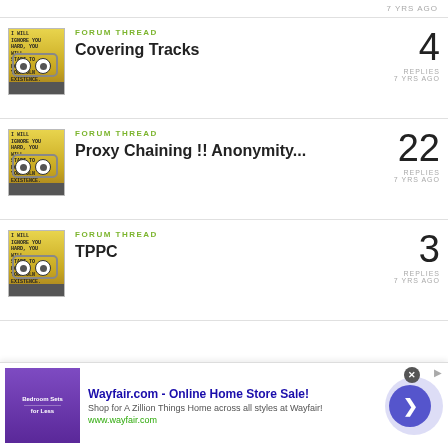7 YRS AGO
FORUM THREAD
Covering Tracks
4 REPLIES 7 YRS AGO
FORUM THREAD
Proxy Chaining !! Anonymity...
22 REPLIES 7 YRS AGO
FORUM THREAD
TPPC
3 REPLIES 7 YRS AGO
[Figure (infographic): Advertisement banner for Wayfair.com - Online Home Store Sale! with a purple bedroom furniture image and arrow button]